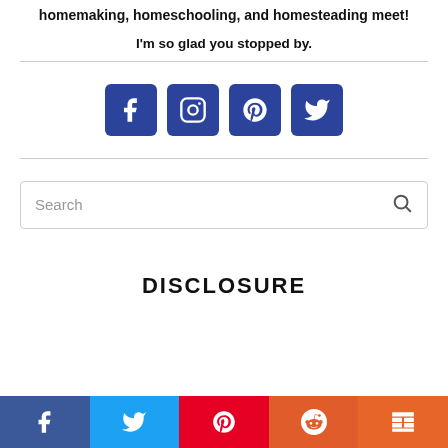homemaking, homeschooling, and homesteading meet!
I'm so glad you stopped by.
[Figure (infographic): Four square social media icon buttons (Facebook, Instagram, Pinterest, Twitter) in dark blue/navy color arranged in a row]
DISCLOSURE
[Figure (infographic): Bottom footer share bar with five colored buttons: Facebook (dark blue), Twitter (light blue), Pinterest (red), Reddit (orange-red), Mix (orange)]